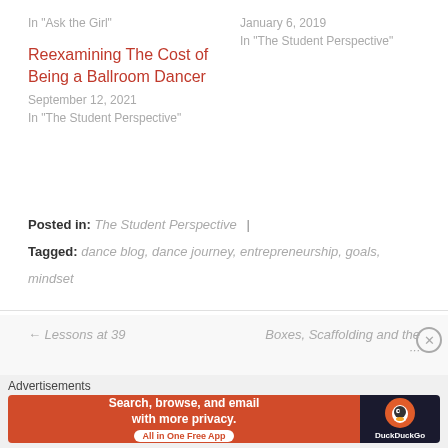In "Ask the Girl"
January 6, 2019
In "The Student Perspective"
Reexamining The Cost of Being a Ballroom Dancer
September 12, 2021
In "The Student Perspective"
Posted in: The Student Perspective  |
Tagged: dance blog, dance journey, entrepreneurship, goals, mindset
← Lessons at 39
Boxes, Scaffolding and the
Advertisements
[Figure (other): DuckDuckGo advertisement banner: 'Search, browse, and email with more privacy. All in One Free App' with DuckDuckGo logo on dark background]